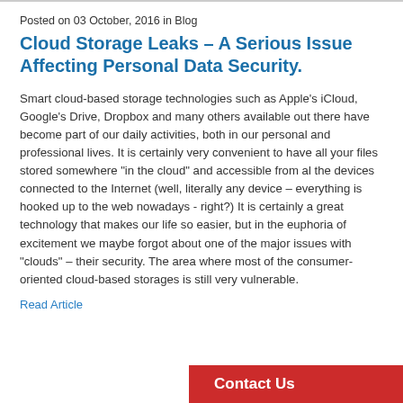Posted on 03 October, 2016 in Blog
Cloud Storage Leaks – A Serious Issue Affecting Personal Data Security.
Smart cloud-based storage technologies such as Apple's iCloud, Google's Drive, Dropbox and many others available out there have become part of our daily activities, both in our personal and professional lives. It is certainly very convenient to have all your files stored somewhere "in the cloud" and accessible from al the devices connected to the Internet (well, literally any device – everything is hooked up to the web nowadays - right?) It is certainly a great technology that makes our life so easier, but in the euphoria of excitement we maybe forgot about one of the major issues with "clouds" – their security. The area where most of the consumer-oriented cloud-based storages is still very vulnerable.
Read Article
Contact Us